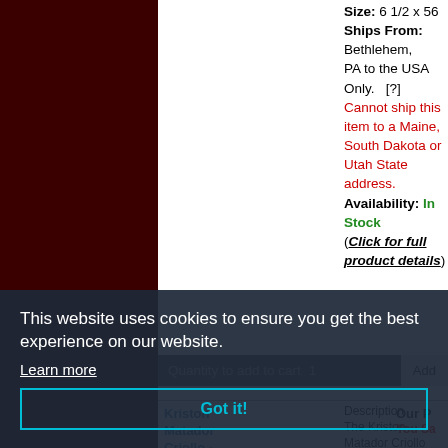Size: 6 1/2 x 56
Ships From: Bethlehem, PA to the USA Only. [?]
Cannot ship this item to a Maine, South Dakota or Utah State address.
Availability: In Stock (Click for full product details)
Quantity to add to cart 1  Add
This website uses cookies to ensure you get the best experience on our website.
Learn more
Got it!
Kriston Matador Criollo - Single
Description The Kriston Matador Criollo cigars contain a well aged blend of Dominican, Ecuadorian, Cubaniseed, Nicaraguan tobaccos
Our P
You Sa